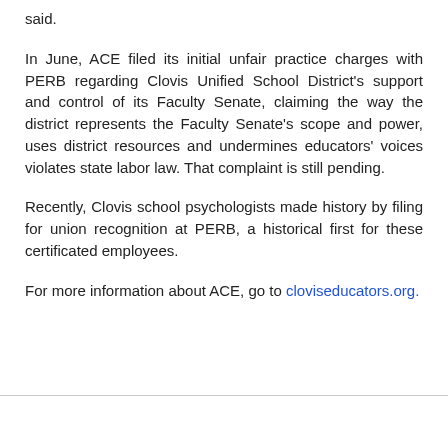said.
In June, ACE filed its initial unfair practice charges with PERB regarding Clovis Unified School District's support and control of its Faculty Senate, claiming the way the district represents the Faculty Senate's scope and power, uses district resources and undermines educators' voices violates state labor law. That complaint is still pending.
Recently, Clovis school psychologists made history by filing for union recognition at PERB, a historical first for these certificated employees.
For more information about ACE, go to cloviseducators.org.